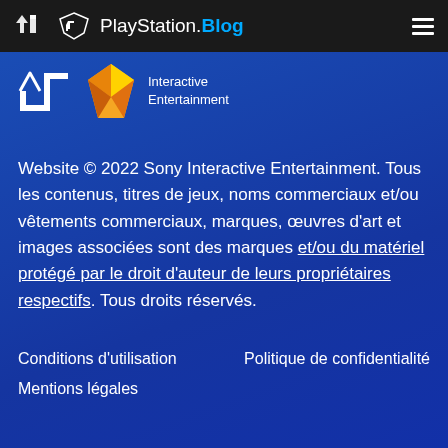PlayStation.Blog
[Figure (logo): PlayStation logo and Sony Interactive Entertainment diamond logo with text 'Interactive Entertainment']
Website © 2022 Sony Interactive Entertainment. Tous les contenus, titres de jeux, noms commerciaux et/ou vêtements commerciaux, marques, œuvres d'art et images associées sont des marques et/ou du matériel protégé par le droit d'auteur de leurs propriétaires respectifs. Tous droits réservés.
Conditions d'utilisation
Politique de confidentialité
Mentions légales